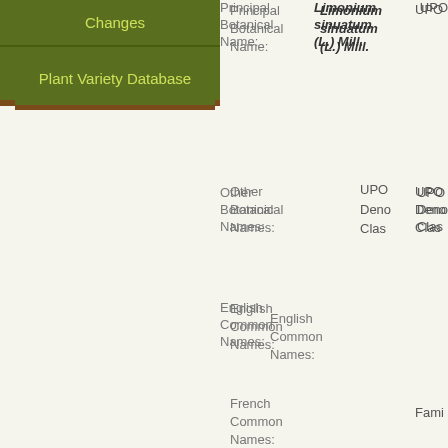Changes
Plant Variety Database
Principal Botanical Name:
Limonium sinuatum (L.) Mill.
UPC
Other Botanical Names:
UPOV Denomination Class
English Common Names:
French Common Names:
Family
German Common Names:
Relevant Technical Working Party (TWP)